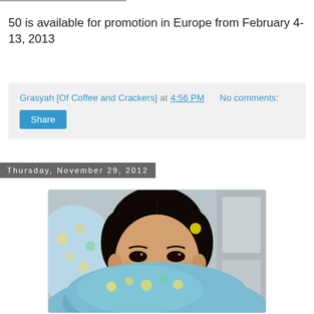50 is available for promotion in Europe from February 4- 13, 2013
Grasyah [Of Coffee and Crackers] at 4:56 PM   No comments:
Share
Thursday, November 29, 2012
[Figure (photo): A young Asian girl lying down, partially covered with a blue floral blanket, looking at the camera]